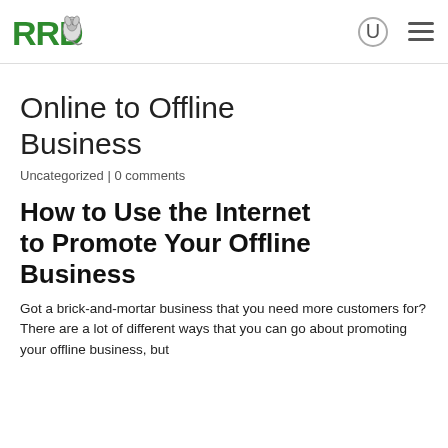RRD [logo with mouse graphic]
Online to Offline Business
Uncategorized | 0 comments
How to Use the Internet to Promote Your Offline Business
Got a brick-and-mortar business that you need more customers for? There are a lot of different ways that you can go about promoting your offline business, but